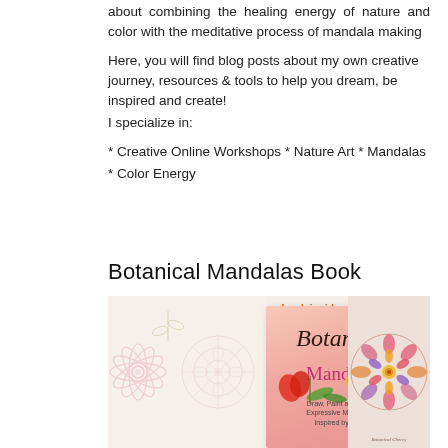about combining the healing energy of nature and color with the meditative process of mandala making

Here, you will find blog posts about my own creative journey, resources & tools to help you dream, be inspired and create!
I specialize in:

* Creative Online Workshops * Nature Art * Mandalas * Color Energy
Botanical Mandalas Book
[Figure (photo): Amazon product listing showing the Botanical Mandalas book cover with 'Look inside' arrow, a pink/floral cover with title in script font, flanked by floral mandala sketch images and a colored mandala image.]